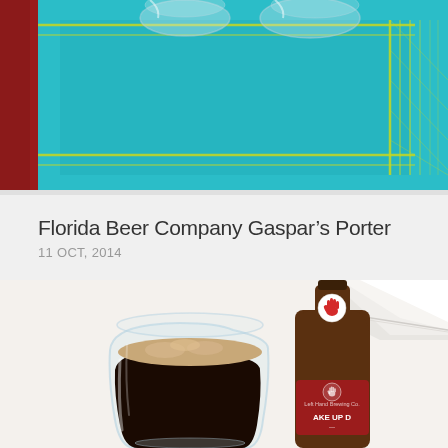[Figure (photo): Top portion of a photo showing beer glasses on a teal/turquoise patterned placemat with yellow-green geometric border design, red fabric visible at left edge]
Florida Beer Company Gaspar’s Porter
11 OCT, 2014
[Figure (photo): A dark porter beer poured into a stemless wine glass next to a brown glass bottle with a red label reading 'WAKE UP D...' and a white circular sticker with a red handprint logo on the neck, against a light cream wall with white crown molding]